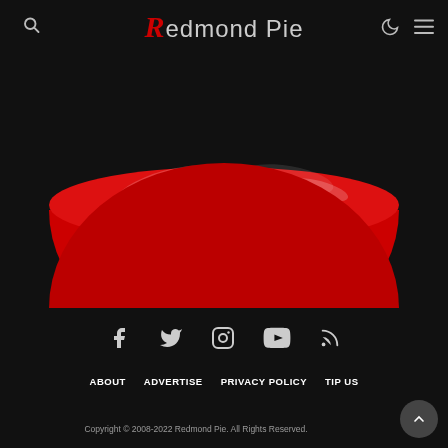Redmond Pie
[Figure (illustration): Red bowl / pie dish shape seen from above, glossy red surface with white highlight reflections, on dark background]
[Figure (infographic): Social media icons row: Facebook, Twitter, Instagram, YouTube, RSS]
ABOUT
ADVERTISE
PRIVACY POLICY
TIP US
Copyright © 2008-2022 Redmond Pie. All Rights Reserved.